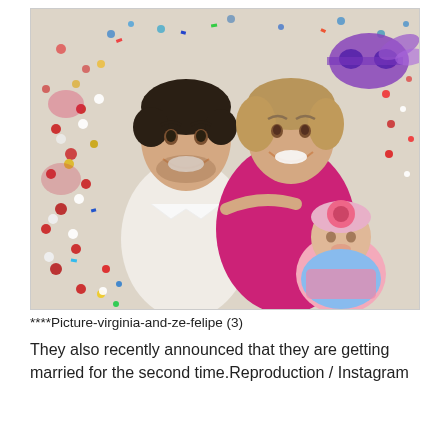[Figure (photo): A family photo of a young man in a white shirt, a woman in a pink/magenta dress, and a baby girl in pink, posed together on a surface covered with colorful confetti. A purple carnival mask is visible in the background.]
****Picture-virginia-and-ze-felipe (3)
They also recently announced that they are getting married for the second time.Reproduction / Instagram